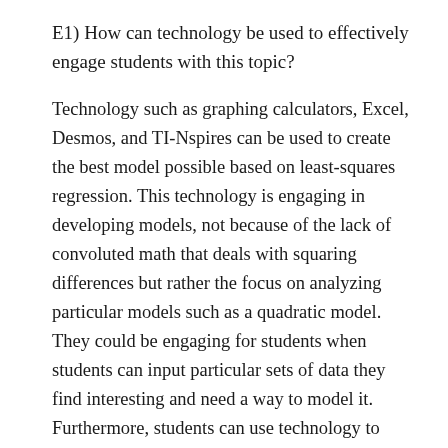E1) How can technology be used to effectively engage students with this topic?
Technology such as graphing calculators, Excel, Desmos, and TI-Nspires can be used to create the best model possible based on least-squares regression. This technology is engaging in developing models, not because of the lack of convoluted math that deals with squaring differences but rather the focus on analyzing particular models such as a quadratic model. They could be engaging for students when students can input particular sets of data they find interesting and need a way to model it. Furthermore, students can use technology to develop beautiful graphs that can be easily interpreted than rough sketches of these